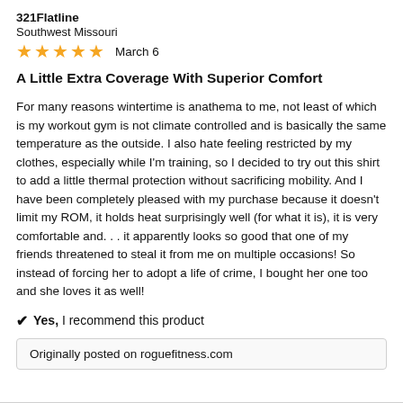321Flatline
Southwest Missouri
★★★★★  March 6
A Little Extra Coverage With Superior Comfort
For many reasons wintertime is anathema to me, not least of which is my workout gym is not climate controlled and is basically the same temperature as the outside. I also hate feeling restricted by my clothes, especially while I'm training, so I decided to try out this shirt to add a little thermal protection without sacrificing mobility. And I have been completely pleased with my purchase because it doesn't limit my ROM, it holds heat surprisingly well (for what it is), it is very comfortable and. . . it apparently looks so good that one of my friends threatened to steal it from me on multiple occasions! So instead of forcing her to adopt a life of crime, I bought her one too and she loves it as well!
✔ Yes, I recommend this product
Originally posted on roguefitness.com